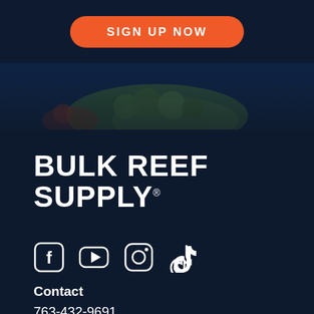[Figure (other): Orange 'SIGN UP NOW' button on dark navy background at the top of the page]
[Figure (photo): Underwater coral reef photo with green and orange coral against dark blue water]
[Figure (logo): Bulk Reef Supply logo in white bold text on dark navy background]
[Figure (other): Social media icons: Facebook, YouTube, Instagram, TikTok in white on dark navy]
Contact
763-432-9691